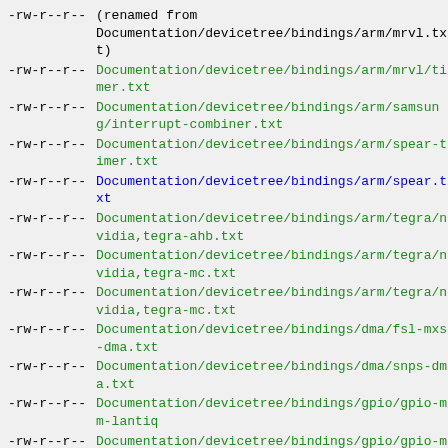-rw-r--r--  (renamed from Documentation/devicetree/bindings/arm/mrvl.txt)
-rw-r--r--  Documentation/devicetree/bindings/arm/mrvl/timer.txt
-rw-r--r--  Documentation/devicetree/bindings/arm/samsung/interrupt-combiner.txt
-rw-r--r--  Documentation/devicetree/bindings/arm/spear-timer.txt
-rw-r--r--  Documentation/devicetree/bindings/arm/spear.txt
-rw-r--r--  Documentation/devicetree/bindings/arm/tegra/nvidia,tegra-ahb.txt
-rw-r--r--  Documentation/devicetree/bindings/arm/tegra/nvidia,tegra-mc.txt
-rw-r--r--  Documentation/devicetree/bindings/arm/tegra/nvidia,tegra-mc.txt
-rw-r--r--  Documentation/devicetree/bindings/dma/fsl-mxs-dma.txt
-rw-r--r--  Documentation/devicetree/bindings/dma/snps-dma.txt
-rw-r--r--  Documentation/devicetree/bindings/gpio/gpio-mm-lantiq
-rw-r--r--  Documentation/devicetree/bindings/gpio/gpio-mxs.txt
-rw-r--r--  Documentation/devicetree/bindings/gpio/gpio-nmk.txt
-rw-r--r--  Documentation/devicetree/bindings/gpio/gpio-stp-xway.txt
-rw-r--r--  Documentation/devicetree/bindings/gpio/gpio_lpc32xx.txt